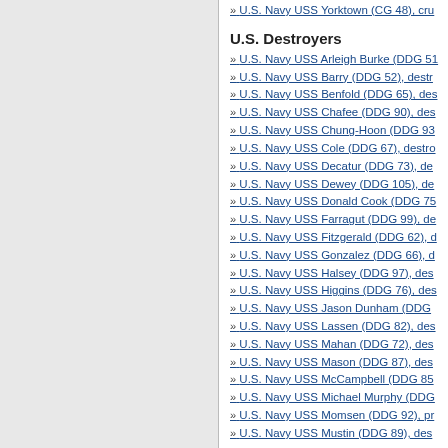» U.S. Navy USS Yorktown (CG 48), cru
U.S. Destroyers
» U.S. Navy USS Arleigh Burke (DDG 51
» U.S. Navy USS Barry (DDG 52), destr
» U.S. Navy USS Benfold (DDG 65), des
» U.S. Navy USS Chafee (DDG 90), des
» U.S. Navy USS Chung-Hoon (DDG 93
» U.S. Navy USS Cole (DDG 67), destro
» U.S. Navy USS Decatur (DDG 73), de
» U.S. Navy USS Dewey (DDG 105), de
» U.S. Navy USS Donald Cook (DDG 75
» U.S. Navy USS Farragut (DDG 99), de
» U.S. Navy USS Fitzgerald (DDG 62), d
» U.S. Navy USS Gonzalez (DDG 66), d
» U.S. Navy USS Halsey (DDG 97), des
» U.S. Navy USS Higgins (DDG 76), des
» U.S. Navy USS Jason Dunham (DDG
» U.S. Navy USS Lassen (DDG 82), des
» U.S. Navy USS Mahan (DDG 72), des
» U.S. Navy USS Mason (DDG 87), des
» U.S. Navy USS McCampbell (DDG 85
» U.S. Navy USS Michael Murphy (DDG
» U.S. Navy USS Momsen (DDG 92), pr
» U.S. Navy USS Mustin (DDG 89), des